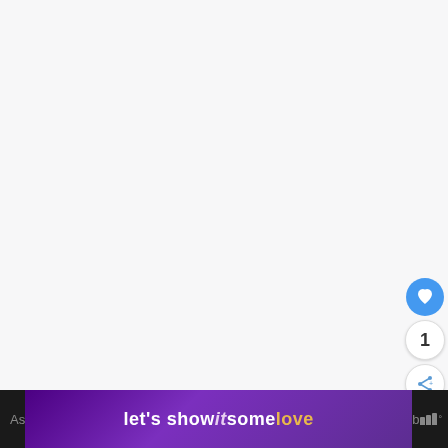[Figure (screenshot): Large white/light grey blank content area occupying most of the page]
[Figure (infographic): UI sidebar buttons: blue heart/like button, count badge showing 1, share button with share icon]
As
[Figure (infographic): Purple banner advertisement reading: let's show it some love]
b